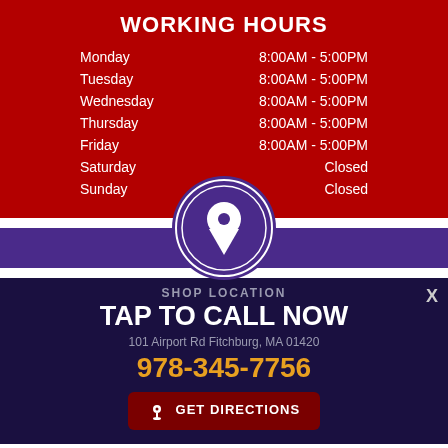WORKING HOURS
| Day | Hours |
| --- | --- |
| Monday | 8:00AM - 5:00PM |
| Tuesday | 8:00AM - 5:00PM |
| Wednesday | 8:00AM - 5:00PM |
| Thursday | 8:00AM - 5:00PM |
| Friday | 8:00AM - 5:00PM |
| Saturday | Closed |
| Sunday | Closed |
[Figure (illustration): Purple circle with map location pin icon]
SHOP LOCATION
TAP TO CALL NOW
101 Airport Rd Fitchburg, MA 01420
978-345-7756
GET DIRECTIONS